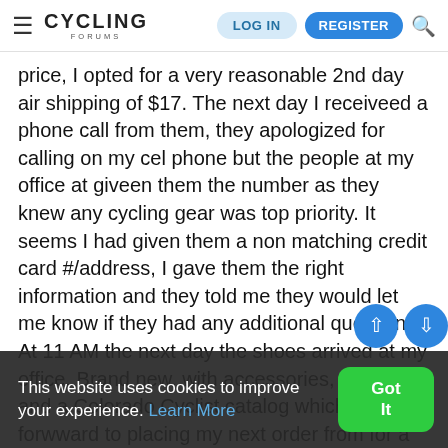CYCLING FORUMS — LOG IN | REGISTER
price, I opted for a very reasonable 2nd day air shipping of $17. The next day I receiveed a phone call from them, they apologized for calling on my cel phone but the people at my office at giveen them the number as they knew any cycling gear was top priority. It seems I had given them a non matching credit card #/address, I gave them the right information and they told me they would let me know if they had any additional questions. At 11 AM the next day the shoes arrived at my office. Brand new, with accessories, manuals and a Colorado Cyclist catalog which I look forwward to placing my next order from for a pair of Genius 4 when the weather permits. I have nothing but highest recommendations for these people. I am not sure if theey ship to the UK but you may want to give them a shout and see.
This website uses cookies to improve your experience. Learn More
Got It